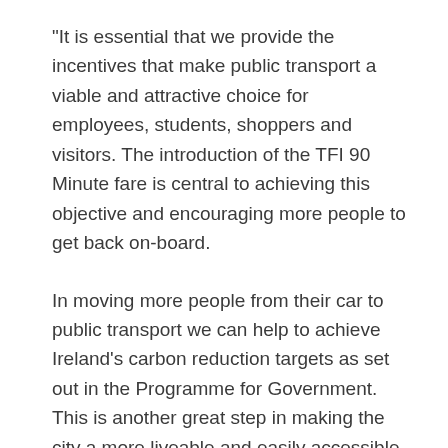“It is essential that we provide the incentives that make public transport a viable and attractive choice for employees, students, shoppers and visitors. The introduction of the TFI 90 Minute fare is central to achieving this objective and encouraging more people to get back on-board.
In moving more people from their car to public transport we can help to achieve Ireland’s carbon reduction targets as set out in the Programme for Government. This is another great step in making the city a more liveable and easily accessible environment.”
To read the full document, click here
Sources: